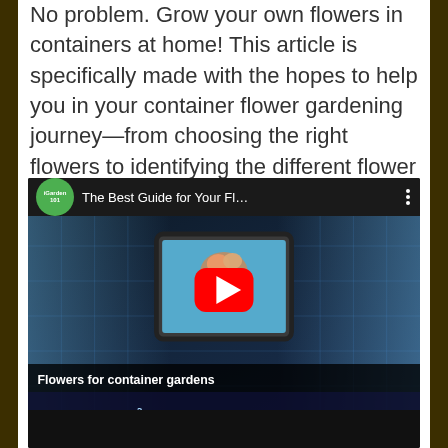No problem. Grow your own flowers in containers at home! This article is specifically made with the hopes to help you in your container flower gardening journey—from choosing the right flowers to identifying the different flower containers you can tap on.
[Figure (screenshot): YouTube video thumbnail showing 'The Best Guide for Your Fl...' by iGarden101 channel. Video shows a tablet mockup with flowers and a YouTube play button. Text overlay reads 'Flowers for container gardens' with a mirrored reflection below.]